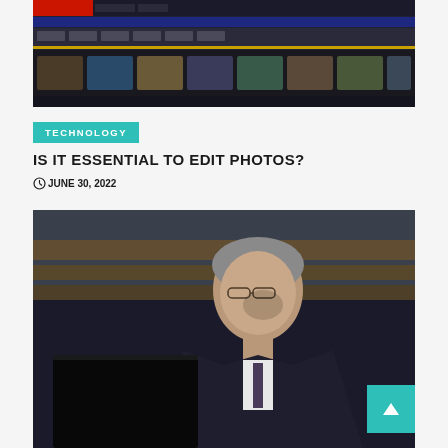[Figure (screenshot): Screenshot of a video editing software interface showing a filmstrip/timeline with multiple video thumbnails at the bottom, dark UI with blue and dark tones, red branding element in top bar, yellow timeline indicator]
TECHNOLOGY
IS IT ESSENTIAL TO EDIT PHOTOS?
JUNE 30, 2022
[Figure (photo): A man in a suit and tie looking downward, with glasses, gray hair, sitting in front of a dark monitor. Background is blurred showing warm-toned shelving or bar area.]